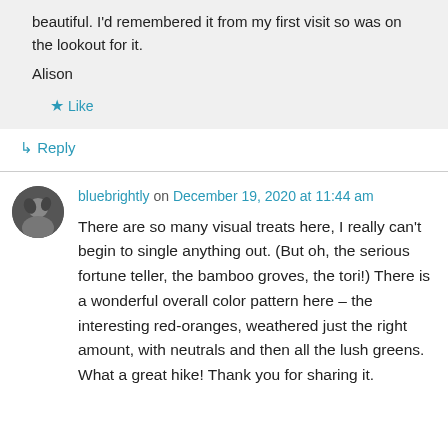beautiful. I'd remembered it from my first visit so was on the lookout for it.
Alison
★ Like
↳ Reply
bluebrightly on December 19, 2020 at 11:44 am
There are so many visual treats here, I really can't begin to single anything out. (But oh, the serious fortune teller, the bamboo groves, the tori!) There is a wonderful overall color pattern here – the interesting red-oranges, weathered just the right amount, with neutrals and then all the lush greens. What a great hike! Thank you for sharing it.